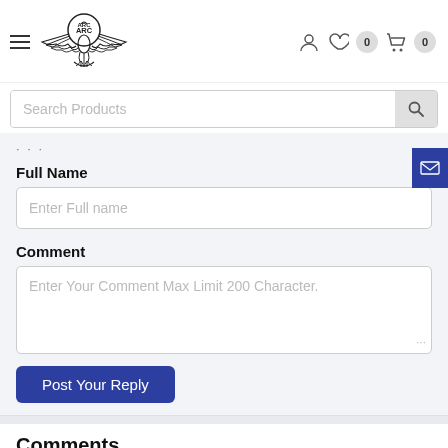[Figure (logo): ARC logo with eagle/bird wings and circular emblem]
Search Products
Full Name
Enter Full name
Comment
Enter Your Comment Max Limit 200 Character.
Post Your Reply
Comments